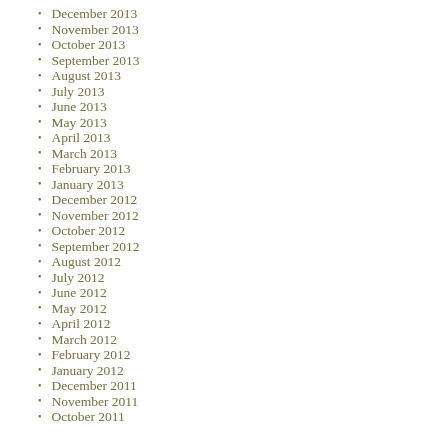December 2013
November 2013
October 2013
September 2013
August 2013
July 2013
June 2013
May 2013
April 2013
March 2013
February 2013
January 2013
December 2012
November 2012
October 2012
September 2012
August 2012
July 2012
June 2012
May 2012
April 2012
March 2012
February 2012
January 2012
December 2011
November 2011
October 2011